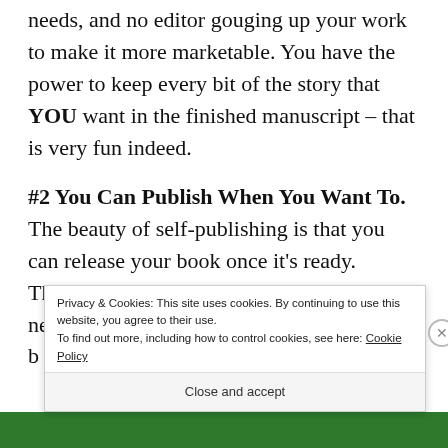needs, and no editor gouging up your work to make it more marketable. You have the power to keep every bit of the story that YOU want in the finished manuscript – that is very fun indeed.
#2 You Can Publish When You Want To. The beauty of self-publishing is that you can release your book once it's ready. There's no middlemen, no queries to agents needed, no waiting on your
Privacy & Cookies: This site uses cookies. By continuing to use this website, you agree to their use.
To find out more, including how to control cookies, see here: Cookie Policy
Close and accept